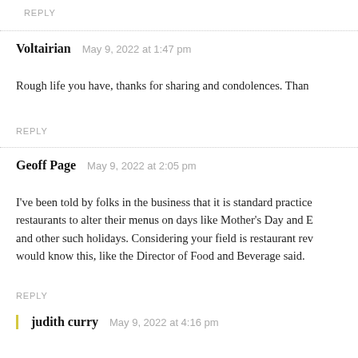REPLY
Voltairian   May 9, 2022 at 1:47 pm
Rough life you have, thanks for sharing and condolences. Than
REPLY
Geoff Page   May 9, 2022 at 2:05 pm
I've been told by folks in the business that it is standard practice restaurants to alter their menus on days like Mother's Day and E and other such holidays. Considering your field is restaurant rev would know this, like the Director of Food and Beverage said.
REPLY
judith curry   May 9, 2022 at 4:16 pm